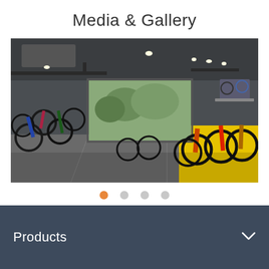Media & Gallery
[Figure (photo): Interior of a bicycle shop showroom with multiple bicycles displayed on both sides. The floor is grey tile, with a yellow platform on the right side holding several mountain bikes. Large window at the back shows greenery outside. Overhead lighting and exposed pipes on ceiling.]
Products